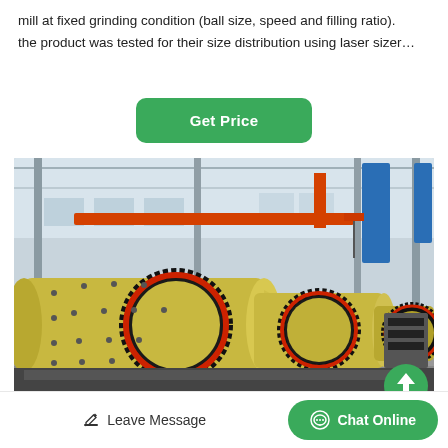mill at fixed grinding condition (ball size, speed and filling ratio). the product was tested for their size distribution using laser sizer…
[Figure (other): Green rounded-rectangle button labeled 'Get Price']
[Figure (photo): Industrial factory interior showing large yellow ball mill grinding machines with red gear rings on a factory floor, with overhead cranes and structural steel in the background.]
Leave Message  |  Chat Online